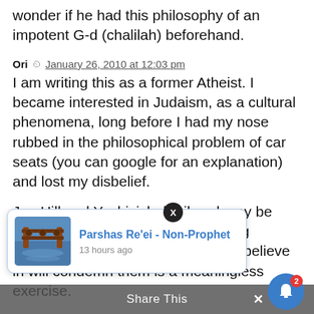wonder if he had this philosophy of an impotent G-d (chalilah) beforehand.
Ori  January 26, 2010 at 12:03 pm
I am writing this as a former Atheist. I became interested in Judaism, as a cultural phenomena, long before I had my nose rubbed in the philosophical problem of car seats (you can google for an explanation) and lost my disbelief.
Joe Hill and Yeshivisheh Liberal may be right, but in an irrelevant way. Telling somebody that the G-d they do not believe in will condemn them is a meaningless exercise.
...int. If the ...weak, you need to worry about being influenced more
[Figure (screenshot): Notification popup showing 'Parshas Re'ei - Non-Prophet' article thumbnail with blue gate image, title in blue, '13 hours ago' timestamp, and a close X button]
Share This
[Figure (other): Blue circular bell notification button with red badge showing '2']